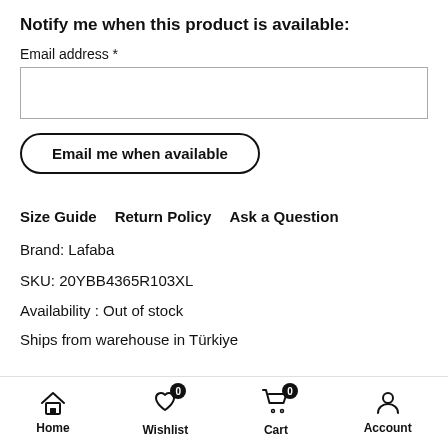Notify me when this product is available:
Email address *
Email me when available
Size Guide   Return Policy   Ask a Question
Brand: Lafaba
SKU: 20YBB4365R103XL
Availability : Out of stock
Ships from warehouse in Türkiye
Home   Wishlist 0   Cart 0   Account